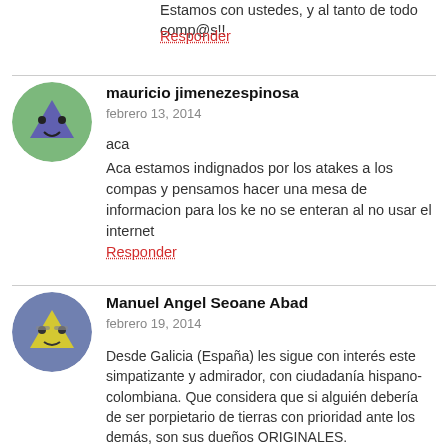Estamos con ustedes, y al tanto de todo comp@s!!
Responder
mauricio jimenezespinosa
febrero 13, 2014
aca
Aca estamos indignados por los atakes a los compas y pensamos hacer una mesa de informacion para los ke no se enteran al no usar el internet
Responder
Manuel Angel Seoane Abad
febrero 19, 2014
Desde Galicia (España) les sigue con interés este simpatizante y admirador, con ciudadanía hispano-colombiana. Que considera que si alguién debería de ser porpietario de tierras con prioridad ante los demás, son sus dueños ORIGINALES.
Por lo tanto con todo mi aprecio, sepan que siempre los consideraré EJEMPLARES.
FRENTE AL OPRESOR ¡¡VIVA EL EZLN!!